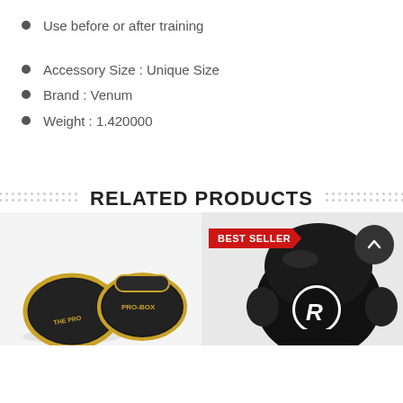Use before or after training
Accessory Size : Unique Size
Brand : Venum
Weight : 1.420000
RELATED PRODUCTS
[Figure (photo): Two black and gold Pro-Box focus pads/boxing mitts on the left product card, and a black headguard with a ring logo on the right product card with a Best Seller badge and a scroll-up button.]